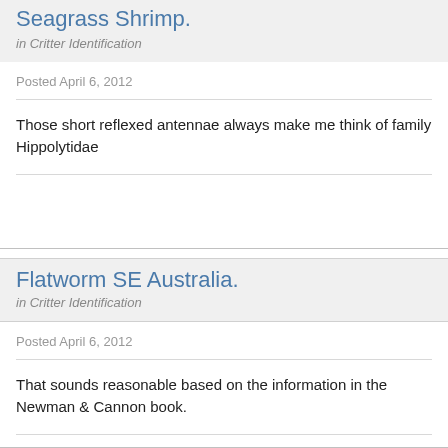Seagrass Shrimp.
in Critter Identification
Posted April 6, 2012
Those short reflexed antennae always make me think of family Hippolytidae
Flatworm SE Australia.
in Critter Identification
Posted April 6, 2012
That sounds reasonable based on the information in the Newman & Cannon book.